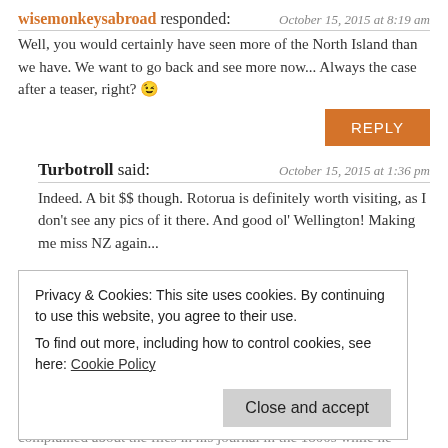wisemonkeysabroad responded:
October 15, 2015 at 8:19 am
Well, you would certainly have seen more of the North Island than we have. We want to go back and see more now... Always the case after a teaser, right? 😉
REPLY
Turbotroll said:
October 15, 2015 at 1:36 pm
Indeed. A bit $$ though. Rotorua is definitely worth visiting, as I don't see any pics of it there. And good ol' Wellington! Making me miss NZ again...
Privacy & Cookies: This site uses cookies. By continuing to use this website, you agree to their use.
To find out more, including how to control cookies, see here: Cookie Policy
Close and accept
complained about the flies in his journal in the 1800s while he